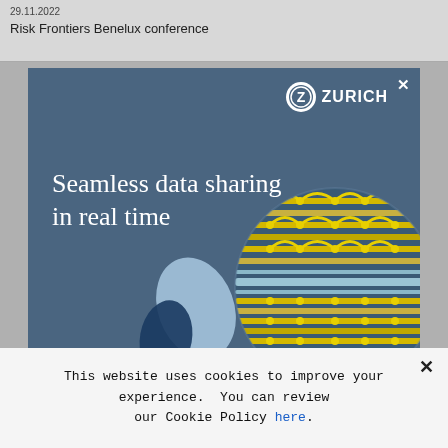29.11.2022
Risk Frontiers Benelux conference
[Figure (illustration): Zurich Insurance advertisement banner with dark blue-grey background. White serif text reads 'Seamless data sharing in real time'. Top right shows Zurich logo (Z in white circle with 'ZURICH' text). Right side shows a circular graphic of interconnected yellow and silver cables/data streams. Bottom left shows abstract light blue teardrop shapes and a small circle (looks like a face/character).]
This website uses cookies to improve your experience.  You can review our Cookie Policy here.